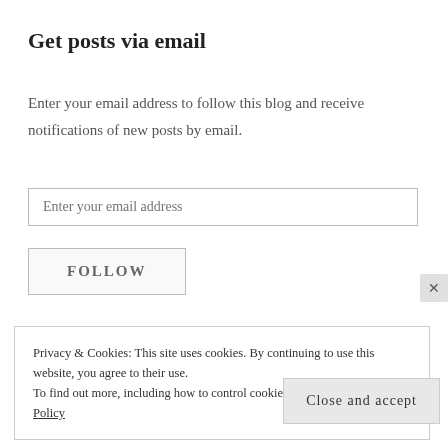Get posts via email
Enter your email address to follow this blog and receive notifications of new posts by email.
Enter your email address
FOLLOW
Privacy & Cookies: This site uses cookies. By continuing to use this website, you agree to their use.
To find out more, including how to control cookies, see here: Cookie Policy
Close and accept